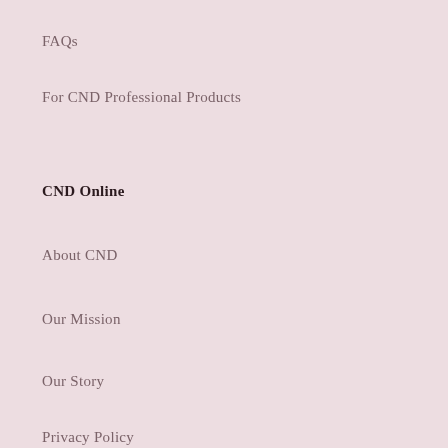FAQs
For CND Professional Products
CND Online
About CND
Our Mission
Our Story
Privacy Policy
Terms of S…